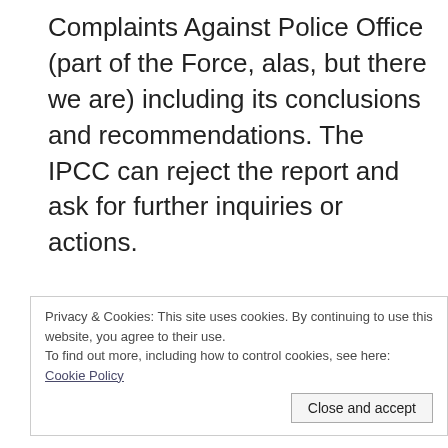Complaints Against Police Office (part of the Force, alas, but there we are) including its conclusions and recommendations. The IPCC can reject the report and ask for further inquiries or actions.
Privacy & Cookies: This site uses cookies. By continuing to use this website, you agree to their use.
To find out more, including how to control cookies, see here: Cookie Policy
Close and accept